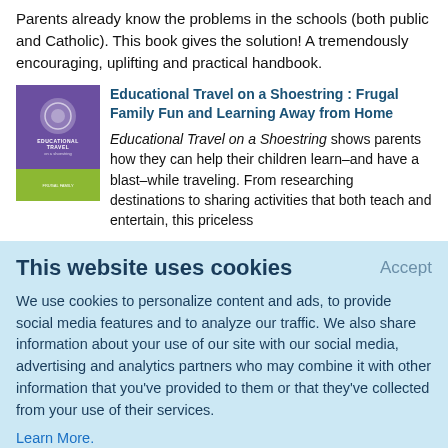Parents already know the problems in the schools (both public and Catholic). This book gives the solution! A tremendously encouraging, uplifting and practical handbook.
[Figure (illustration): Book cover thumbnail for 'Educational Travel on a Shoestring' with purple top section containing a circular logo and green bottom band.]
Educational Travel on a Shoestring : Frugal Family Fun and Learning Away from Home
Educational Travel on a Shoestring shows parents how they can help their children learn–and have a blast–while traveling. From researching destinations to sharing activities that both teach and entertain, this priceless
This website uses cookies
Accept
We use cookies to personalize content and ads, to provide social media features and to analyze our traffic. We also share information about your use of our site with our social media, advertising and analytics partners who may combine it with other information that you've provided to them or that they've collected from your use of their services.
Learn More.
teaching tools, and ideas for low-cost field trips. Also